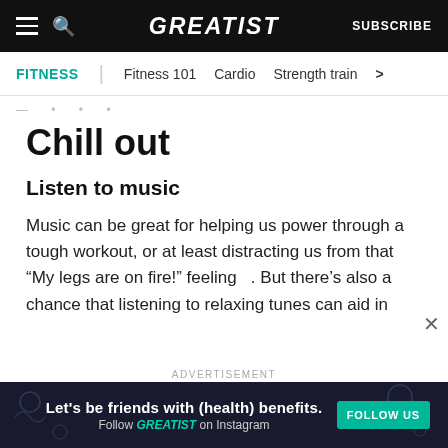GREATIST | SUBSCRIBE
FITNESS | Fitness 101 | Cardio | Strength train >
Chill out
Listen to music
Music can be great for helping us power through a tough workout, or at least distracting us from that “My legs are on fire!” feeling . But there’s also a chance that listening to relaxing tunes can aid in
[Figure (screenshot): Advertisement banner: Let's be friends with (health) benefits. Follow GREATIST on Instagram. FOLLOW US button.]